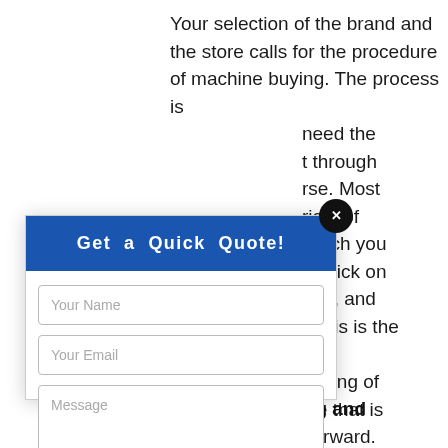Your selection of the brand and the store calls for the procedure of machine buying. The process is [partially obscured] need the [partially obscured] through [partially obscured]rse. Most [partially obscured]riety of [partially obscured] which you [partially obscured]to click on [partially obscured]or it, and [partially obscured]. This is the [partially obscured]line [partially obscured]buying of [partially obscured]ine that is [partially obscured]tforward.
[Figure (screenshot): Modal dialog overlay with blue header 'Get a Quick Quote!', a black circular close button with X, input fields for Your Name and Your Email, a Message textarea, and a blue Submit button.]
The Mixed Money Counting and Sorting Machines